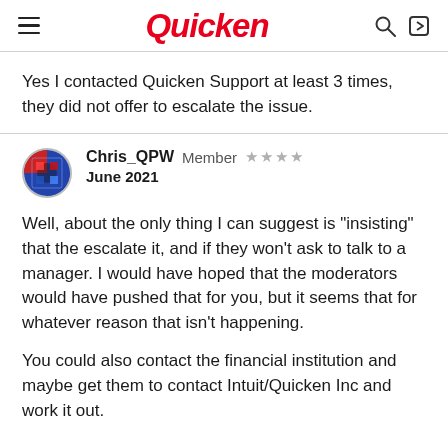Quicken
Yes I contacted Quicken Support at least 3 times, they did not offer to escalate the issue.
Chris_QPW  Member  ★★★★
June 2021
Well, about the only thing I can suggest is "insisting" that the escalate it, and if they won't ask to talk to a manager.  I would have hoped that the moderators would have pushed that for you, but it seems that for whatever reason that isn't happening.
You could also contact the financial institution and maybe get them to contact Intuit/Quicken Inc and work it out.